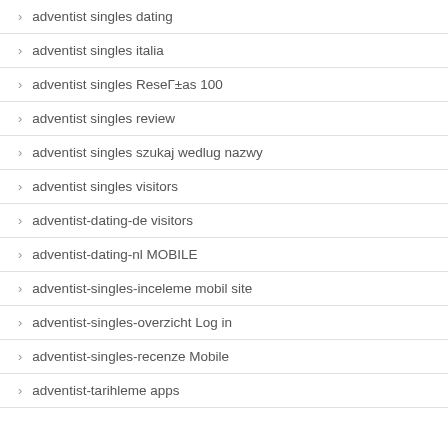adventist singles dating
adventist singles italia
adventist singles ReseГ±as 100
adventist singles review
adventist singles szukaj wedlug nazwy
adventist singles visitors
adventist-dating-de visitors
adventist-dating-nl MOBILE
adventist-singles-inceleme mobil site
adventist-singles-overzicht Log in
adventist-singles-recenze Mobile
adventist-tarihleme apps